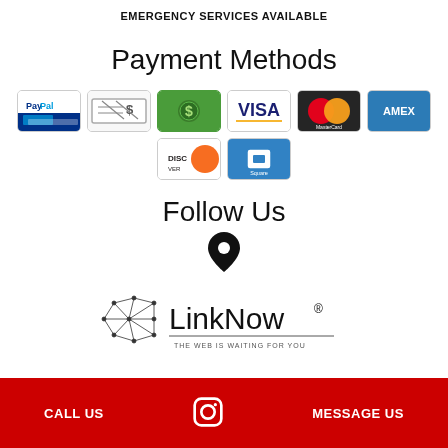EMERGENCY SERVICES AVAILABLE
Payment Methods
[Figure (illustration): Payment method icons: PayPal, Check/eCheck, Money Order, Visa, MasterCard, American Express, Discover, Square]
Follow Us
[Figure (illustration): Location pin icon]
[Figure (logo): LinkNow Media logo with text: THE WEB IS WAITING FOR YOU]
CALL US   [Instagram icon]   MESSAGE US